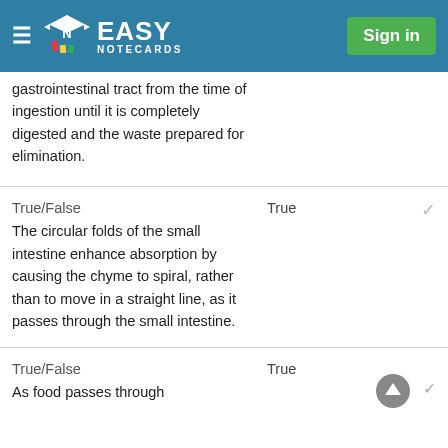Easy Notecards — Sign in
gastrointestinal tract from the time of ingestion until it is completely digested and the waste prepared for elimination.
True/False
The circular folds of the small intestine enhance absorption by causing the chyme to spiral, rather than to move in a straight line, as it passes through the small intestine.
True
True/False
As food passes through
True